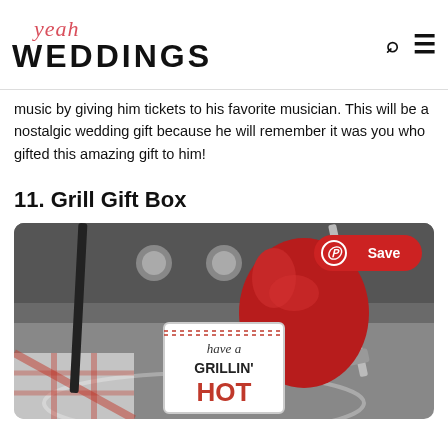yeah WEDDINGS
music by giving him tickets to his favorite musician. This will be a nostalgic wedding gift because he will remember it was you who gifted this amazing gift to him!
11. Grill Gift Box
[Figure (photo): A grill gift box containing grilling tools including tongs and a spatula, red oven mitts, a checkered cloth, and a tag card reading 'have a GRILLIN' HOT' with a Pinterest Save button overlay]